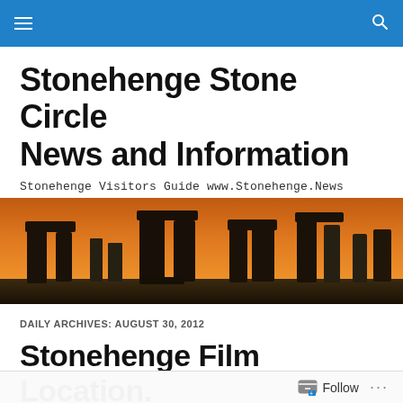Navigation bar with menu and search icons
Stonehenge Stone Circle News and Information
Stonehenge Visitors Guide www.Stonehenge.News
[Figure (photo): Stonehenge stone circle silhouetted against an orange sunset sky]
DAILY ARCHIVES: AUGUST 30, 2012
Stonehenge Film Location. Thor – The Dark World
Follow